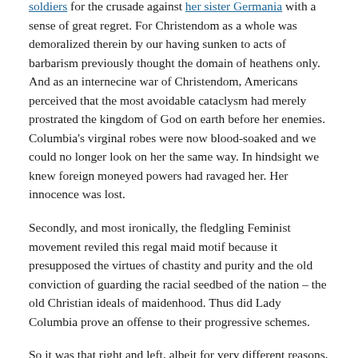soldiers for the crusade against her sister Germania with a sense of great regret. For Christendom as a whole was demoralized therein by our having sunken to acts of barbarism previously thought the domain of heathens only. And as an internecine war of Christendom, Americans perceived that the most avoidable cataclysm had merely prostrated the kingdom of God on earth before her enemies. Columbia's virginal robes were now blood-soaked and we could no longer look on her the same way. In hindsight we knew foreign moneyed powers had ravaged her. Her innocence was lost.
Secondly, and most ironically, the fledgling Feminist movement reviled this regal maid motif because it presupposed the virtues of chastity and purity and the old conviction of guarding the racial seedbed of the nation – the old Christian ideals of maidenhood. Thus did Lady Columbia prove an offense to their progressive schemes.
So it was that right and left, albeit for very different reasons, struck a tacit concord to disregard the maiden.
But today, if we had to construct a personification of the new America – the American empire which has overtaken the American nation – it would be femme without a hint of femininity. She would have to be loosed of all the old restraints: she would be immodest in dress and attitude. Garishly tattooed, she would be obnoxiously pierced and barnstocked, prescription spray. Her being would resemble a natural